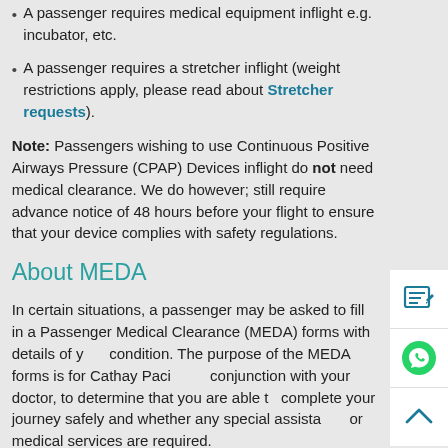A passenger requires medical equipment inflight e.g. incubator, etc.
A passenger requires a stretcher inflight (weight restrictions apply, please read about Stretcher requests).
Note: Passengers wishing to use Continuous Positive Airways Pressure (CPAP) Devices inflight do not need medical clearance. We do however; still require advance notice of 48 hours before your flight to ensure that your device complies with safety regulations.
About MEDA
In certain situations, a passenger may be asked to fill in a Passenger Medical Clearance (MEDA) forms with details of your condition. The purpose of the MEDA forms is for Cathay Pacific, in conjunction with your doctor, to determine that you are able to complete your journey safely and whether any special assistance or medical services are required.
If you are requested to submit a MEDA forms, please ensure that Part 1 and Part 2 are completed in full.